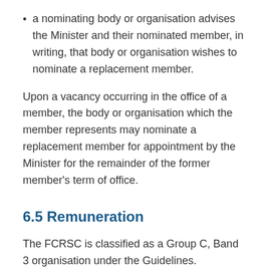a nominating body or organisation advises the Minister and their nominated member, in writing, that body or organisation wishes to nominate a replacement member.
Upon a vacancy occurring in the office of a member, the body or organisation which the member represents may nominate a replacement member for appointment by the Minister for the remainder of the former member's term of office.
6.5 Remuneration
The FCRSC is classified as a Group C, Band 3 organisation under the Guidelines.